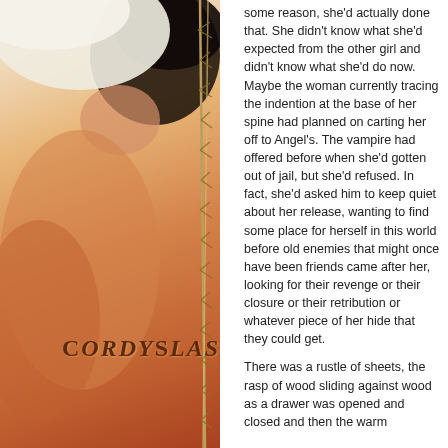[Figure (illustration): A person's bare back with dark hair, wearing a white hat, photographed from behind. Warm orange/amber tones. Site title 'CORDY SLASH' overlaid on the image. Navigation table with links: home, author, pairing, title, list, updates.]
some reason, she'd actually done that. She didn't know what she'd expected from the other girl and didn't know what she'd do now. Maybe the woman currently tracing the indention at the base of her spine had planned on carting her off to Angel's. The vampire had offered before when she'd gotten out of jail, but she'd refused. In fact, she'd asked him to keep quiet about her release, wanting to find some place for herself in this world before old enemies that might once have been friends came after her, looking for their revenge or their closure or their retribution or whatever piece of her hide that they could get.
There was a rustle of sheets, the rasp of wood sliding against wood as a drawer was opened and closed and then the warm